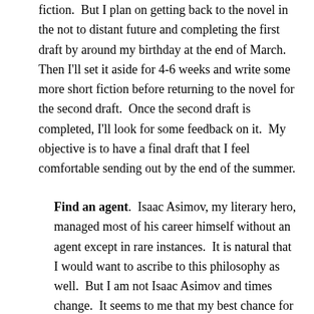fiction.  But I plan on getting back to the novel in the not to distant future and completing the first draft by around my birthday at the end of March.  Then I'll set it aside for 4-6 weeks and write some more short fiction before returning to the novel for the second draft.  Once the second draft is completed, I'll look for some feedback on it.  My objective is to have a final draft that I feel comfortable sending out by the end of the summer.
Find an agent.  Isaac Asimov, my literary hero, managed most of his career himself without an agent except in rare instances.  It is natural that I would want to ascribe to this philosophy as well.  But I am not Isaac Asimov and times change.  It seems to me that my best chance for